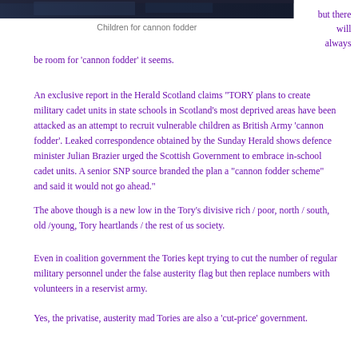[Figure (photo): Dark photo strip at the top of the page, appears to be a crowd or group scene with blue/dark tones]
Children for cannon fodder
but there will always be room for 'cannon fodder' it seems.
An exclusive report in the Herald Scotland claims "TORY plans to create military cadet units in state schools in Scotland's most deprived areas have been attacked as an attempt to recruit vulnerable children as British Army 'cannon fodder'. Leaked correspondence obtained by the Sunday Herald shows defence minister Julian Brazier urged the Scottish Government to embrace in-school cadet units. A senior SNP source branded the plan a "cannon fodder scheme" and said it would not go ahead."
The above though is a new low in the Tory's divisive rich / poor, north / south, old /young, Tory heartlands / the rest of us society.
Even in coalition government the Tories kept trying to cut the number of regular military personnel under the false austerity flag but then replace numbers with volunteers in a reservist army.
Yes, the privatise, austerity mad Tories are also a 'cut-price' government.